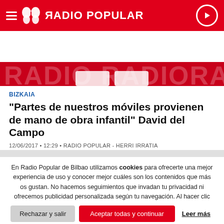RADIO POPULAR
[Figure (screenshot): Radio Popular banner with red background and watermark text RADIO POPULAR in large transparent letters]
BIZKAIA
"Partes de nuestros móviles provienen de mano de obra infantil" David del Campo
12/06/2017 • 12:29 • RADIO POPULAR - HERRI IRRATIA
En Radio Popular de Bilbao utilizamos cookies para ofrecerte una mejor experiencia de uso y conocer mejor cuáles son los contenidos que más os gustan. No hacemos seguimientos que invadan tu privacidad ni ofrecemos publicidad personalizada según tu navegación. Al hacer clic en 'Aceptar todo', aceptas el uso de TODAS las cookies.
Rechazar y salir | Aceptar todas y continuar | Leer más